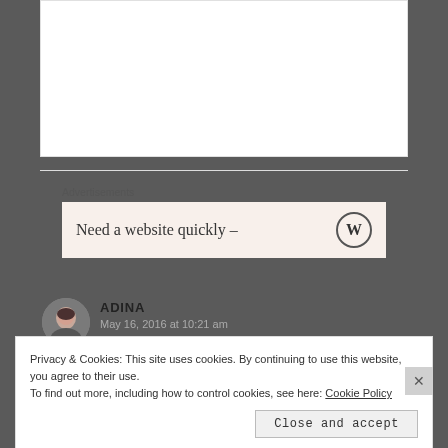Thanks!
★ Like
Reply →
Advertisements
[Figure (screenshot): Advertisement banner with text 'Need a website quickly –' and WordPress logo]
ADINA
May 16, 2016 at 10:21 am
Privacy & Cookies: This site uses cookies. By continuing to use this website, you agree to their use. To find out more, including how to control cookies, see here: Cookie Policy
Close and accept